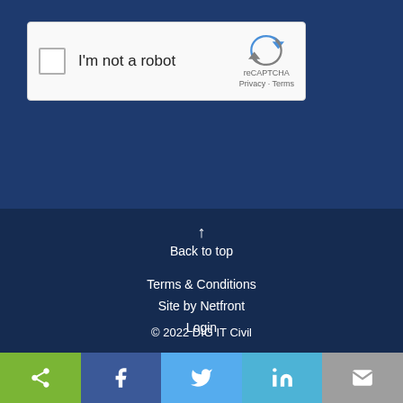[Figure (screenshot): reCAPTCHA widget with checkbox labeled 'I'm not a robot' and reCAPTCHA logo with Privacy and Terms links]
SEND
↑
Back to top
Terms & Conditions
Site by Netfront
Login
© 2022 DIG IT Civil
[Figure (infographic): Social sharing bar with share, Facebook, Twitter, LinkedIn, and email icons]